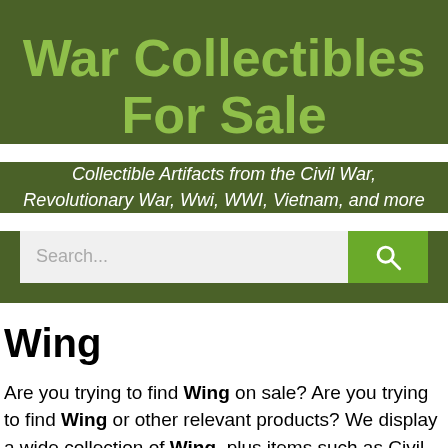War Collectibles For Sale
Collectible Artifacts from the Civil War, Revolutionary War, Wwi, WWI, Vietnam, and more
Wing
Are you trying to find Wing on sale? Are you trying to find Wing or other relevant products? We display a wide collection of Wing, plus items such as Civil War, Nazi, WWII, Vietnam War, plus lots extra